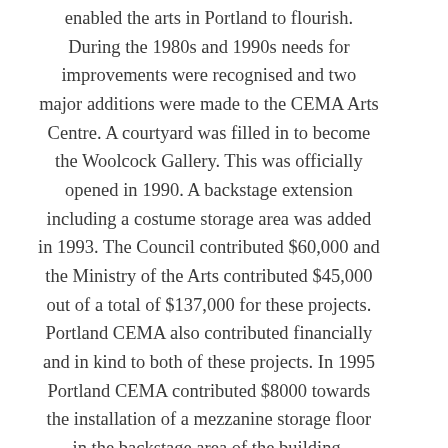enabled the arts in Portland to flourish. During the 1980s and 1990s needs for improvements were recognised and two major additions were made to the CEMA Arts Centre. A courtyard was filled in to become the Woolcock Gallery. This was officially opened in 1990. A backstage extension including a costume storage area was added in 1993. The Council contributed $60,000 and the Ministry of the Arts contributed $45,000 out of a total of $137,000 for these projects. Portland CEMA also contributed financially and in kind to both of these projects. In 1995 Portland CEMA contributed $8000 towards the installation of a mezzanine storage floor in the backstage area of the building. Portland CEMA became incorporated in May